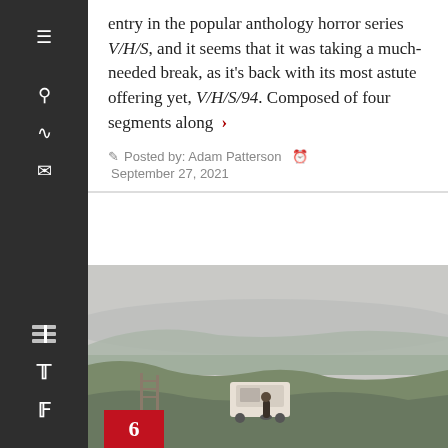entry in the popular anthology horror series V/H/S, and it seems that it was taking a much-needed break, as it's back with its most astute offering yet, V/H/S/94. Composed of four segments along ›
✏ Posted by: Adam Patterson 🕐 September 27, 2021
[Figure (photo): Outdoor scene showing a person near a white van on a grassy hillside cliff overlooking misty water, foggy grey sky background]